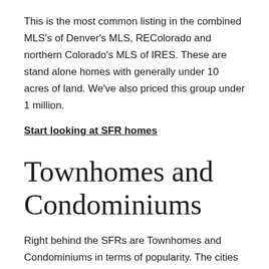This is the most common listing in the combined MLS's of Denver's MLS, REColorado and northern Colorado's MLS of IRES. These are stand alone homes with generally under 10 acres of land. We've also priced this group under 1 million.
Start looking at SFR homes
Townhomes and Condominiums
Right behind the SFRs are Townhomes and Condominiums in terms of popularity. The cities generally see more condos than townhomes, and